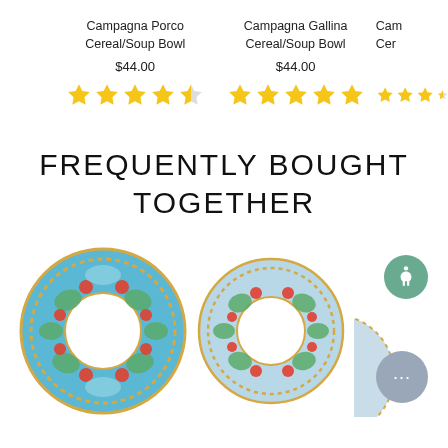Campagna Porco Cereal/Soup Bowl
$44.00
[Figure (infographic): 4 filled stars and 1 half star (star rating: ~4.5 out of 5) in gold/yellow]
Campagna Gallina Cereal/Soup Bowl
$44.00
[Figure (infographic): 5 filled stars (star rating: 5 out of 5) in gold/yellow]
Cam Cer (truncated product name)
[Figure (infographic): Approximately 3.5 stars (truncated) in gold/yellow]
FREQUENTLY BOUGHT TOGETHER
[Figure (photo): Round ceramic bowl/plate with blue background, red and green decorative pattern (Campagna style), gold rim detail]
[Figure (photo): Round ceramic bowl/plate with blue-white background, red and green decorative pattern (Campagna style), smaller version]
[Figure (photo): Partial view of a third bowl at right edge, with accessibility icon (person in circle, teal) and chat bubble icon (gray) overlaid]